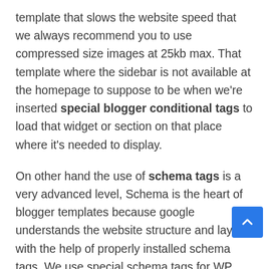template that slows the website speed that we always recommend you to use compressed size images at 25kb max. That template where the sidebar is not available at the homepage to suppose to be when we're inserted special blogger conditional tags to load that widget or section on that place where it's needed to display.
On other hand the use of schema tags is a very advanced level, Schema is the heart of blogger templates because google understands the website structure and layout with the help of properly installed schema tags. We use special schema tags for WP header, WP sidebar, WP Footer, and also for blogger pages we use a schema that nobody currently uses in 2021.
In our blogger templates, you can use google schema tests to get live results regarding the schema tags. In blogger there are many Gadgets available like Featured